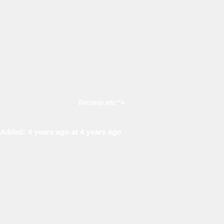Tecmio etc">
Added: 4 years ago at 4 years ago
Addins: 4 years ago at 4 years ago